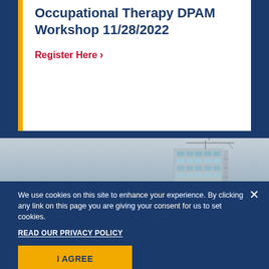Occupational Therapy DPAM Workshop 11/28/2022
Register Here >
[Figure (photo): Photograph of a modern glass office building under a cloudy sky, partially visible at the right side of the image]
We use cookies on this site to enhance your experience. By clicking any link on this page you are giving your consent for us to set cookies.
READ OUR PRIVACY POLICY
I AGREE